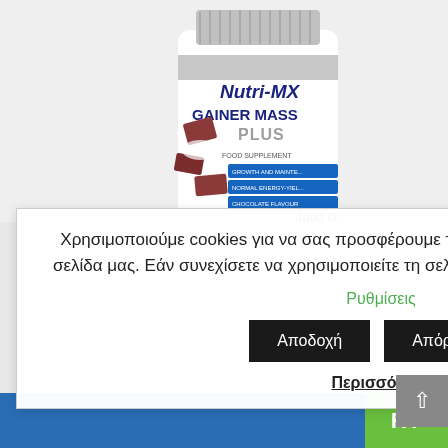[Figure (photo): Nutri-MX Gainer Mass Plus food supplement container, 4000G, chocolate flavour, partially visible at top of page]
Χρησιμοποιούμε cookies για να σας προσφέρουμε την καλύτερη δυνατή εμπειρία στη σελίδα μας. Εάν συνεχίσετε να χρησιμοποιείτε τη σελίδα, υποθέτουμε πως συμφωνείτε.
Ρυθμίσεις
Αποδοχή
Απόρριψη
Περισσότερα
RT